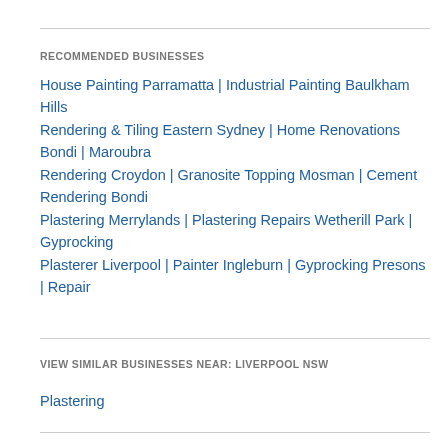RECOMMENDED BUSINESSES
House Painting Parramatta | Industrial Painting Baulkham Hills
Rendering & Tiling Eastern Sydney | Home Renovations Bondi | Maroubra
Rendering Croydon | Granosite Topping Mosman | Cement Rendering Bondi
Plastering Merrylands | Plastering Repairs Wetherill Park | Gyprocking
Plasterer Liverpool | Painter Ingleburn | Gyprocking Presons | Repair
VIEW SIMILAR BUSINESSES NEAR: LIVERPOOL NSW
Plastering